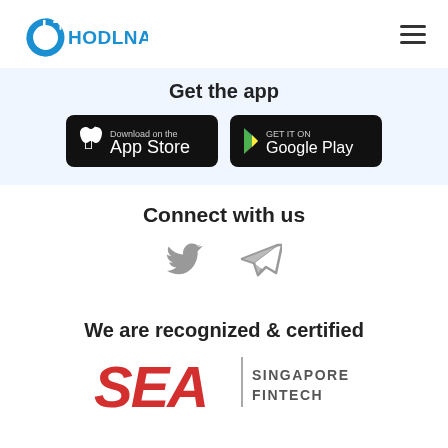[Figure (logo): Hodlnaut logo with blue rocket/astronaut icon and text HODLNAUT in blue]
[Figure (other): Hamburger menu icon (three horizontal lines) in top right corner]
Get the app
[Figure (other): Download on the App Store button (black rounded rectangle with Apple logo)]
[Figure (other): GET IT ON Google Play button (black rounded rectangle with Google Play triangle logo)]
Connect with us
[Figure (other): Twitter bird icon in gray]
[Figure (other): Telegram paper plane icon in gray]
We are recognized & certified
[Figure (logo): SEA (Singapore Fintech Association) logo — large red italic SEA text with SINGAPORE FINTECH text to the right]